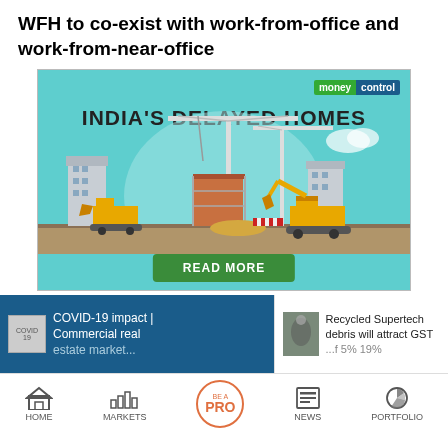WFH to co-exist with work-from-office and work-from-near-office
[Figure (illustration): Moneycontrol advertisement banner for 'India's Delayed Homes' showing a construction scene with cranes, buildings under construction, and yellow construction vehicles. Teal background with a 'READ MORE' green button at the bottom.]
COVID-19 impact | Commercial real ...
Recycled Supertech debris will attract GST ...
HOME   MARKETS   BE A PRO   NEWS   PORTFOLIO